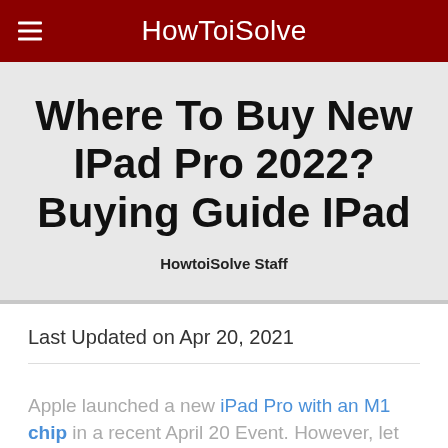HowToiSolve
Where To Buy New IPad Pro 2022? Buying Guide IPad
HowtoiSolve Staff
Last Updated on Apr 20, 2021
Apple launched a new iPad Pro with an M1 chip in a recent April 20 Event. However, let the